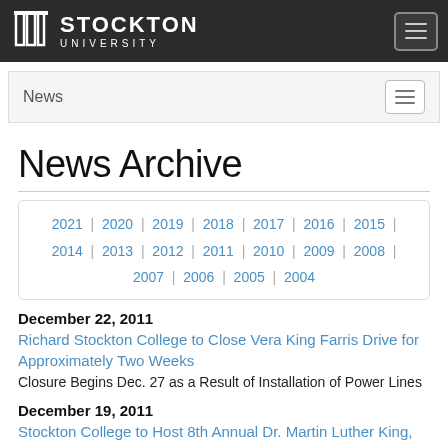STOCKTON UNIVERSITY
News
News Archive
2021 | 2020 | 2019 | 2018 | 2017 | 2016 | 2015 | 2014 | 2013 | 2012 | 2011 | 2010 | 2009 | 2008 | 2007 | 2006 | 2005 | 2004
December 22, 2011
Richard Stockton College to Close Vera King Farris Drive for Approximately Two Weeks
Closure Begins Dec. 27 as a Result of Installation of Power Lines
December 19, 2011
Stockton College to Host 8th Annual Dr. Martin Luther King, Jr. Day